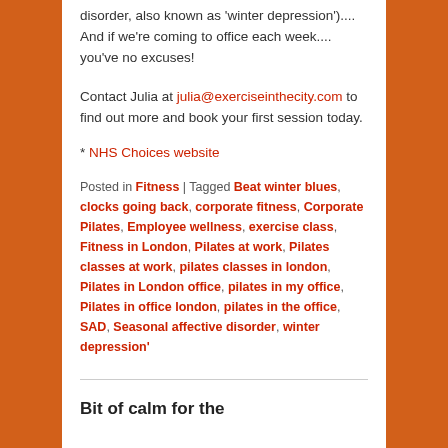disorder, also known as 'winter depression').... And if we're coming to office each week.... you've no excuses!
Contact Julia at julia@exerciseinthecity.com to find out more and book your first session today.
* NHS Choices website
Posted in Fitness | Tagged Beat winter blues, clocks going back, corporate fitness, Corporate Pilates, Employee wellness, exercise class, Fitness in London, Pilates at work, Pilates classes at work, pilates classes in london, Pilates in London office, pilates in my office, Pilates in office london, pilates in the office, SAD, Seasonal affective disorder, winter depression'
Bit of calm for the